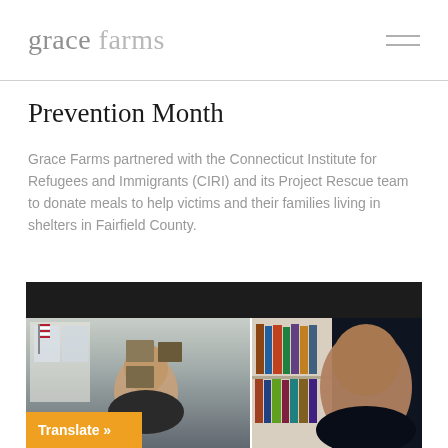grace farms
Prevention Month
Grace Farms partnered with the Connecticut Institute for Refugees and Immigrants (CIRI) and its Project Rescue team to donate meals to help victims and their families living in shelters in Fairfield County.
[Figure (screenshot): Video call screenshot showing two people on screen — a man on the left in an office with American flag, and a woman on the right in front of a bookshelf. A dark bar is at the top. At the bottom left is an orange Translate button with text 'Translate »'.]